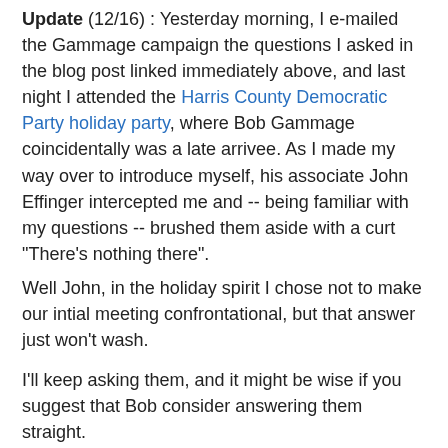Update (12/16) : Yesterday morning, I e-mailed the Gammage campaign the questions I asked in the blog post linked immediately above, and last night I attended the Harris County Democratic Party holiday party, where Bob Gammage coincidentally was a late arrivee. As I made my way over to introduce myself, his associate John Effinger intercepted me and -- being familiar with my questions -- brushed them aside with a curt "There's nothing there".
Well John, in the holiday spirit I chose not to make our intial meeting confrontational, but that answer just won't wash.
I'll keep asking them, and it might be wise if you suggest that Bob consider answering them straight.
PDiddie at Thursday, December 15, 2005   No comments:
Share
Moneyshot Quote of the Week: Viggo Mortensen